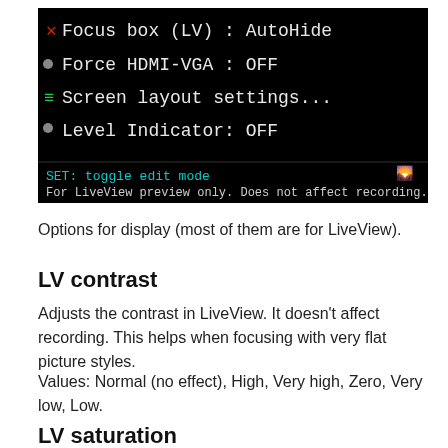[Figure (screenshot): Camera menu screenshot on black background showing: Focus box (LV): AutoHide, Force HDMI-VGA: OFF, Screen layout settings..., Level Indicator: OFF. Bottom bar shows: SET: toggle edit mode | For LiveView preview only. Does not affect recording.]
Options for display (most of them are for LiveView).
LV contrast
Adjusts the contrast in LiveView. It doesn't affect recording. This helps when focusing with very flat picture styles.
Values: Normal (no effect), High, Very high, Zero, Very low, Low.
LV saturation